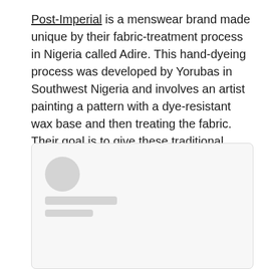Post-Imperial is a menswear brand made unique by their fabric-treatment process in Nigeria called Adire. This hand-dyeing process was developed by Yorubas in Southwest Nigeria and involves an artist painting a pattern with a dye-resistant wax base and then treating the fabric. Their goal is to give these traditional practices a modern perspective and new life through using the material to make elevated, modern-day designs.
[Figure (other): A card UI element with a placeholder avatar (grey circle) and two placeholder text lines beneath it, against a light grey background with rounded corners.]